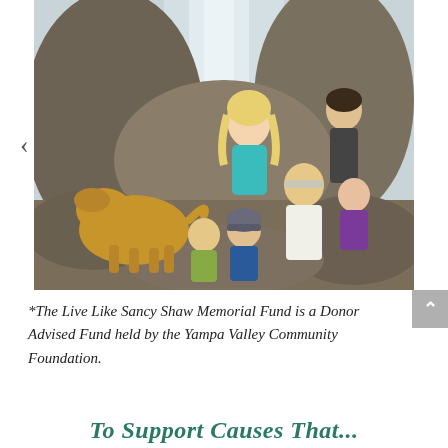[Figure (photo): A family photo in front of a waterfall. A woman in a teal tank top, a man wearing a white shirt and headband, children in colorful clothing, and a golden dog are grouped together on rocks in front of a cascading waterfall surrounded by rocky terrain.]
*The Live Like Sancy Shaw Memorial Fund is a Donor Advised Fund held by the Yampa Valley Community Foundation.
To Support Causes That...